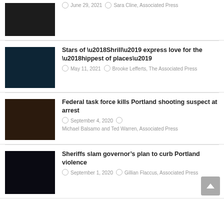[Figure (photo): Dark nighttime crowd scene thumbnail]
June 29, 2021  Sara Cline, Associated Press
[Figure (photo): Blue-tinted storefront at night thumbnail]
Stars of ‘Shrill’ express love for the ‘hippest of places’
May 11, 2021  Brooke Lefferts, The Associated Press
[Figure (photo): Orange-lit building at night thumbnail]
Federal task force kills Portland shooting suspect at arrest
September 4, 2020  Michael Balsamo and Ted Warren, Associated Press
[Figure (photo): Dark nighttime street scene thumbnail]
Sheriffs slam governor’s plan to curb Portland violence
September 1, 2020  Gillian Flaccus, Associated Press